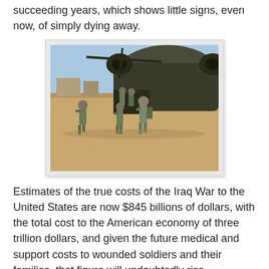succeeding years, which shows little signs, even now, of simply dying away.
[Figure (photo): Military soldiers in combat gear disembarking from a large military helicopter (Chinook) in a desert environment. Multiple soldiers running on sandy ground with equipment and weapons.]
Estimates of the true costs of the Iraq War to the United States are now $845 billions of dollars, with the total cost to the American economy of three trillion dollars, and given the future medical and support costs to wounded soldiers and their families, that figure will undoubtedly rise.
Though accounts differ, a reliable estimate of the number of Iraqi civilian deaths is put at or near 130,000, with an